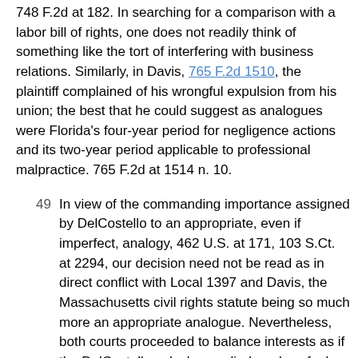748 F.2d at 182. In searching for a comparison with a labor bill of rights, one does not readily think of something like the tort of interfering with business relations. Similarly, in Davis, 765 F.2d 1510, the plaintiff complained of his wrongful expulsion from his union; the best that he could suggest as analogues were Florida's four-year period for negligence actions and its two-year period applicable to professional malpractice. 765 F.2d at 1514 n. 10.
49  In view of the commanding importance assigned by DelCostello to an appropriate, even if imperfect, analogy, 462 U.S. at 171, 103 S.Ct. at 2294, our decision need not be read as in direct conflict with Local 1397 and Davis, the Massachusetts civil rights statute being so much more an appropriate analogue. Nevertheless, both courts proceeded to balance interests as if the DelCostello calculus applied, and we feel obliged to evaluate their approach.
50  The earlier and more detailed analysis was made in Local 1397. It embodied four basic propositions, and we respectfully take issue with each of them. The first was that a Title I action bears a "family resemblance" to an unfair labor practice charge: both are concerned with "arbitrary actions by unions", 748 F.2d at 183, and so there is thus no distinction between "internal" LMRDA concerns and "external" NLRA concerns. Id. This, we feel, is to stretch the rubric of